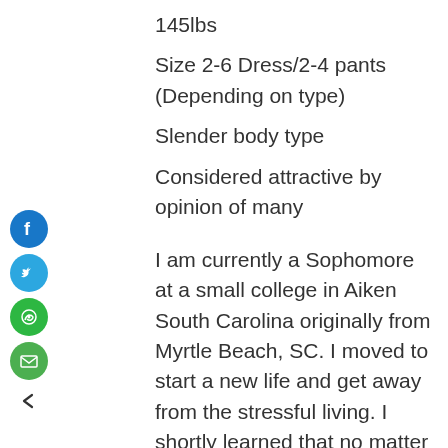145lbs
Size 2-6 Dress/2-4 pants (Depending on type)
Slender body type
Considered attractive by opinion of many
I am currently a Sophomore at a small college in Aiken South Carolina originally from Myrtle Beach, SC. I moved to start a new life and get away from the stressful living. I shortly learned that no matter where I live, life will be stressful. I have been casted for many different kinds of roles in school plays, but acting has
[Figure (infographic): Social media sharing sidebar icons: Facebook (blue circle with f), Twitter (blue circle with bird), WhatsApp (green circle with phone), Email (green circle with envelope), and a back arrow icon below them.]